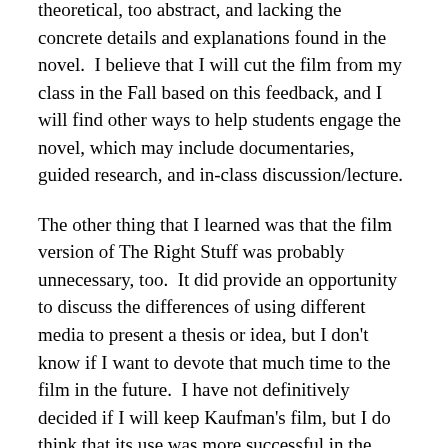theoretical, too abstract, and lacking the concrete details and explanations found in the novel.  I believe that I will cut the film from my class in the Fall based on this feedback, and I will find other ways to help students engage the novel, which may include documentaries, guided research, and in-class discussion/lecture.
The other thing that I learned was that the film version of The Right Stuff was probably unnecessary, too.  It did provide an opportunity to discuss the differences of using different media to present a thesis or idea, but I don't know if I want to devote that much time to the film in the future.  I have not definitively decided if I will keep Kaufman's film, but I do think that its use was more successful in the class than Kubrick's 2001.